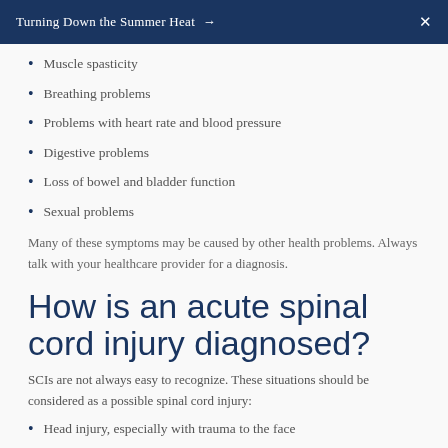Turning Down the Summer Heat →    X
Muscle spasticity
Breathing problems
Problems with heart rate and blood pressure
Digestive problems
Loss of bowel and bladder function
Sexual problems
Many of these symptoms may be caused by other health problems. Always talk with your healthcare provider for a diagnosis.
How is an acute spinal cord injury diagnosed?
SCIs are not always easy to recognize. These situations should be considered as a possible spinal cord injury:
Head injury, especially with trauma to the face